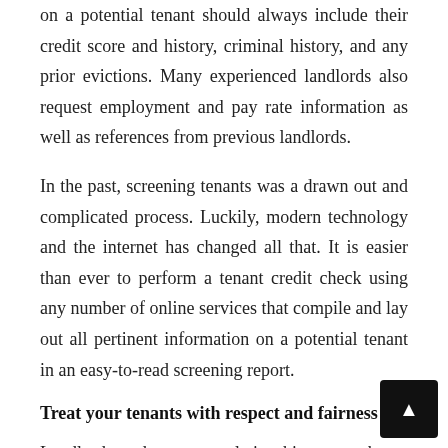on a potential tenant should always include their credit score and history, criminal history, and any prior evictions. Many experienced landlords also request employment and pay rate information as well as references from previous landlords.
In the past, screening tenants was a drawn out and complicated process. Luckily, modern technology and the internet has changed all that. It is easier than ever to perform a tenant credit check using any number of online services that compile and lay out all pertinent information on a potential tenant in an easy-to-read screening report.
Treat your tenants with respect and fairness
Landlord and tenant relationships can be a balancing act. Many newer landlords are